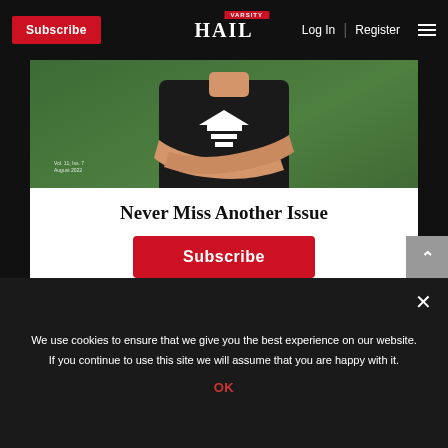Subscribe | HAIL VARSITY | Log In | Register
[Figure (photo): Magazine cover photo showing a person with arms crossed wearing a black t-shirt with white logo design, standing in front of a green turf/grass background. Small text overlay at bottom left reads Vol. 11, Iss. 7 / August 2022.]
Never Miss Another Issue
Subscribe
We use cookies to ensure that we give you the best experience on our website. If you continue to use this site we will assume that you are happy with it.
OK